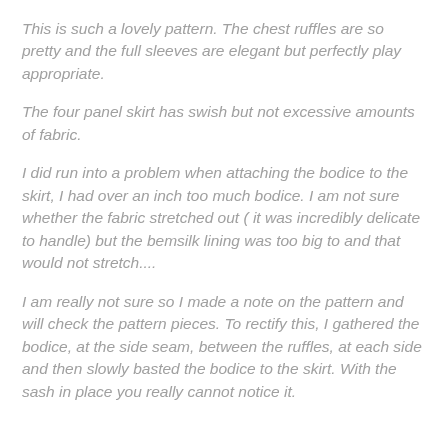This is such a lovely pattern. The chest ruffles are so pretty and the full sleeves are elegant but perfectly play appropriate.
The four panel skirt has swish but not excessive amounts of fabric.
I did run into a problem when attaching the bodice to the skirt, I had over an inch too much bodice. I am not sure whether the fabric stretched out ( it was incredibly delicate to handle) but the bemsilk lining was too big to and that would not stretch....
I am really not sure so I made a note on the pattern and will check the pattern pieces. To rectify this, I gathered the bodice, at the side seam, between the ruffles, at each side and then slowly basted the bodice to the skirt. With the sash in place you really cannot notice it.